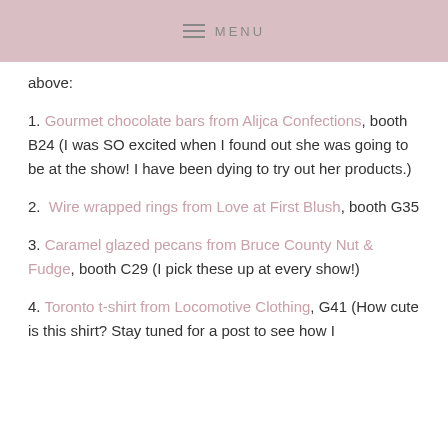MENU
above:
1. Gourmet chocolate bars from Alijca Confections, booth B24 (I was SO excited when I found out she was going to be at the show! I have been dying to try out her products.)
2. Wire wrapped rings from Love at First Blush, booth G35
3. Caramel glazed pecans from Bruce County Nut & Fudge, booth C29 (I pick these up at every show!)
4. Toronto t-shirt from Locomotive Clothing, G41 (How cute is this shirt? Stay tuned for a post to see how I